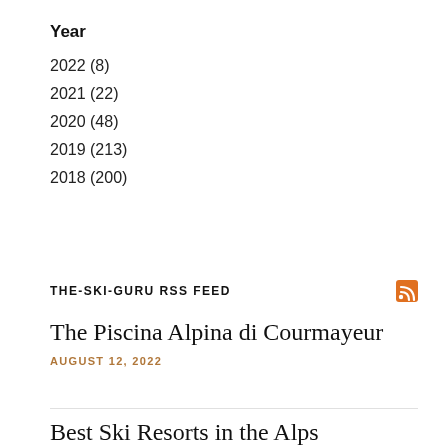Year
2022 (8)
2021 (22)
2020 (48)
2019 (213)
2018 (200)
THE-SKI-GURU RSS FEED
The Piscina Alpina di Courmayeur
AUGUST 12, 2022
Best Ski Resorts in the Alps
JULY 30, 2022